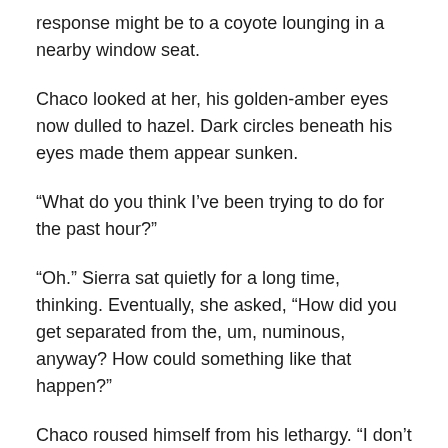response might be to a coyote lounging in a nearby window seat.
Chaco looked at her, his golden-amber eyes now dulled to hazel. Dark circles beneath his eyes made them appear sunken.
“What do you think I’ve been trying to do for the past hour?”
“Oh.” Sierra sat quietly for a long time, thinking. Eventually, she asked, “How did you get separated from the, um, numinous, anyway? How could something like that happen?”
Chaco roused himself from his lethargy. “I don’t know. It’s never happened before. I could make an educated guess, though. I think it’s because I’m no longer connected to my